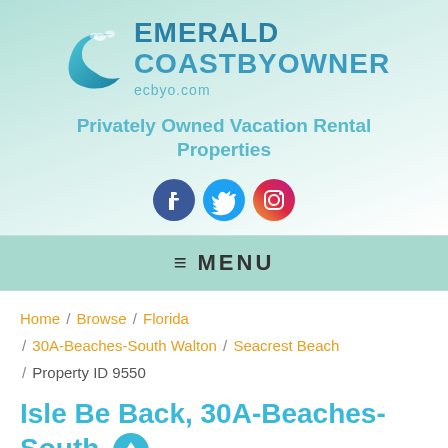[Figure (logo): Emerald Coast By Owner logo with wave graphic and ecbyo.com URL]
Privately Owned Vacation Rental Properties
[Figure (infographic): Social media icons: Facebook, Twitter, Instagram]
≡ MENU
Home / Browse / Florida / 30A-Beaches-South Walton / Seacrest Beach / Property ID 9550
Isle Be Back, 30A-Beaches-South Walton, Florida Vacation Rental by